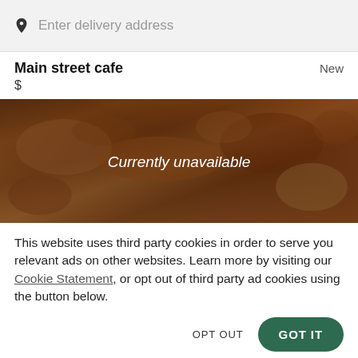Enter delivery address
Main street cafe
New
$
[Figure (photo): Food photo showing fried chicken tenders and dipping sauces on a table, with a dark overlay and the text 'Currently unavailable' in white italic font centered on the image.]
This website uses third party cookies in order to serve you relevant ads on other websites. Learn more by visiting our Cookie Statement, or opt out of third party ad cookies using the button below.
OPT OUT
GOT IT